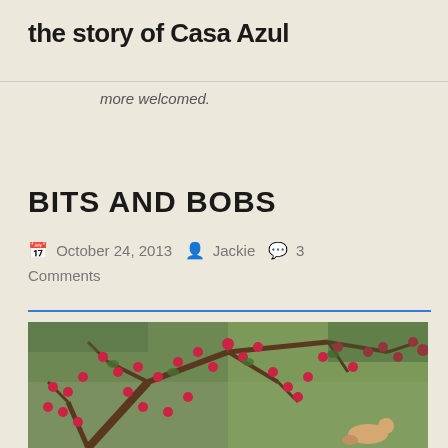the story of Casa Azul
more welcomed.
BITS AND BOBS
October 24, 2013  Jackie  3 Comments
[Figure (photo): A tree with many red berries/fruits on bare branches, with green foliage visible and a dog in the lower right corner of the image.]